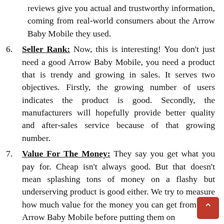(continuation) reviews give you actual and trustworthy information, coming from real-world consumers about the Arrow Baby Mobile they used.
6. Seller Rank: Now, this is interesting! You don't just need a good Arrow Baby Mobile, you need a product that is trendy and growing in sales. It serves two objectives. Firstly, the growing number of users indicates the product is good. Secondly, the manufacturers will hopefully provide better quality and after-sales service because of that growing number.
7. Value For The Money: They say you get what you pay for. Cheap isn't always good. But that doesn't mean splashing tons of money on a flashy but underserving product is good either. We try to measure how much value for the money you can get from your Arrow Baby Mobile before putting them on